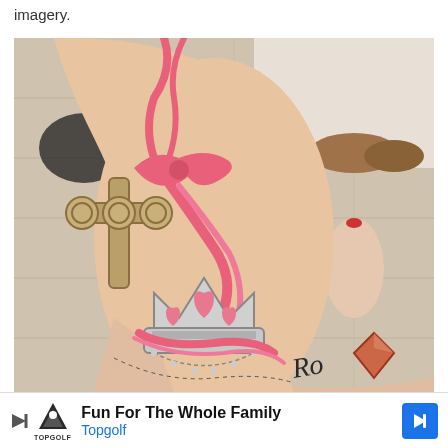imagery.
[Figure (photo): A close-up photograph of a person's ankle and foot showing a tattoo featuring a crown with pink ribbon/bow detail and diamond shapes, with another foot visible in the background. The setting appears to be on a light wood floor with shoes visible in the background.]
[Figure (other): Advertisement banner for Topgolf reading 'Fun For The Whole Family' with Topgolf logo and a blue navigation arrow icon.]